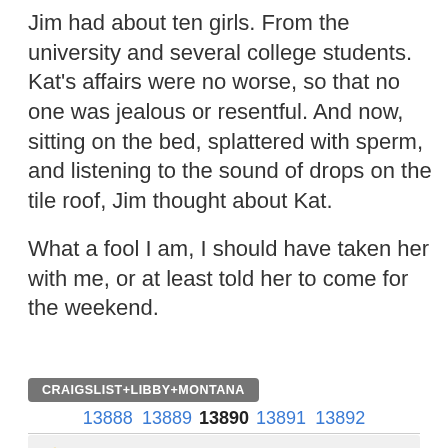Jim had about ten girls. From the university and several college students. Kat's affairs were no worse, so that no one was jealous or resentful. And now, sitting on the bed, splattered with sperm, and listening to the sound of drops on the tile roof, Jim thought about Kat.

What a fool I am, I should have taken her with me, or at least told her to come for the weekend.
CRAIGSLIST+LIBBY+MONTANA
13888 13889 13890 13891 13892
⚡POPULAR POSTS
Design toe nails
Polyatomic ion definition